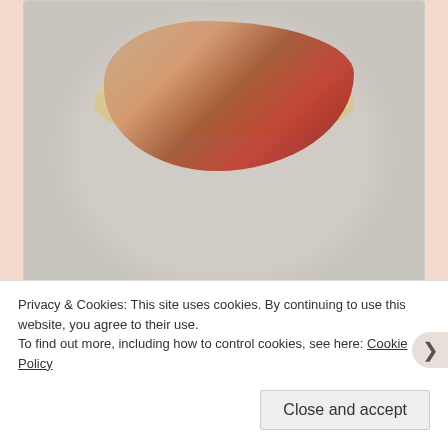[Figure (photo): A plate of pasta with tomato-based meat sauce (mince) and peas served on a light grey/blue plate, photographed from above on a light background.]
Remember, this recipe is only a base, so feel free to play around with it! Try adding chilli or paprika to spice it up a little, or using some different herbs. You could add a tin of beans along with the peas, either to complement or replace the mince. Or you could try using different
Privacy & Cookies: This site uses cookies. By continuing to use this website, you agree to their use.
To find out more, including how to control cookies, see here: Cookie Policy
Close and accept